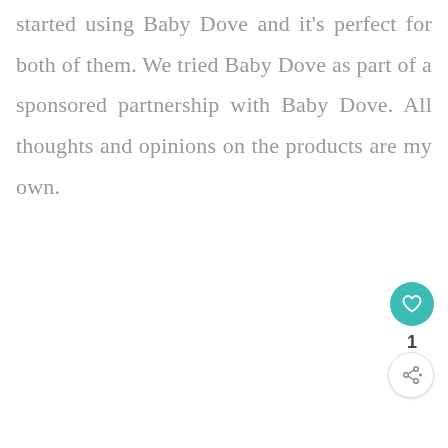started using Baby Dove and it's perfect for both of them. We tried Baby Dove as part of a sponsored partnership with Baby Dove. All thoughts and opinions on the products are my own.
[Figure (other): Teal circular like/heart button with heart icon, count of 1, and a share button below]